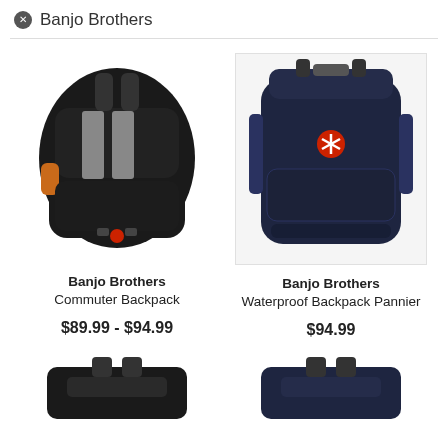✕ Banjo Brothers
[Figure (photo): Black Banjo Brothers Commuter Backpack with grey reflective stripes, orange side pockets, and rear red light]
Banjo Brothers
Commuter Backpack
$89.99 - $94.99
[Figure (photo): Dark navy Banjo Brothers Waterproof Backpack Pannier with red logo badge on a white background]
Banjo Brothers
Waterproof Backpack Pannier
$94.99
[Figure (photo): Partial view of a dark Banjo Brothers bag, bottom of page, left column]
[Figure (photo): Partial view of a dark Banjo Brothers bag, bottom of page, right column]